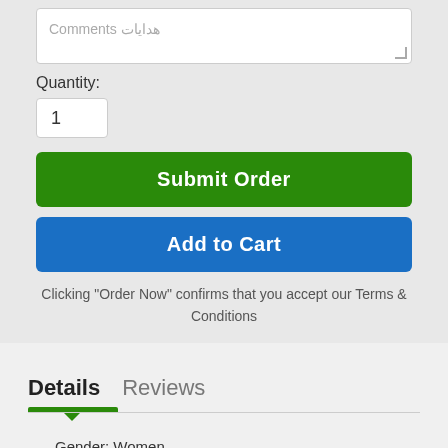Comments هدايات
Quantity:
1
Submit Order
Add to Cart
Clicking "Order Now" confirms that you accept our Terms & Conditions
Details   Reviews
Gender: Women
Volume: 90ML
Brand: Rasasi